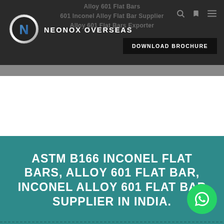Neonox Overseas — Alloy 601 Flat Bars, 601 Inconel Alloy Flat Bar Supplier, Alloy 601 Flat Bars Exporter
[Figure (logo): Neonox Overseas circular logo with stylized N in silver/blue, followed by brand name NEONOX OVERSEAS in white uppercase letters]
DOWNLOAD BROCHURE
ASTM B166 INCONEL FLAT BARS, ALLOY 601 FLAT BAR, INCONEL ALLOY 601 FLAT BAR SUPPLIER IN INDIA.